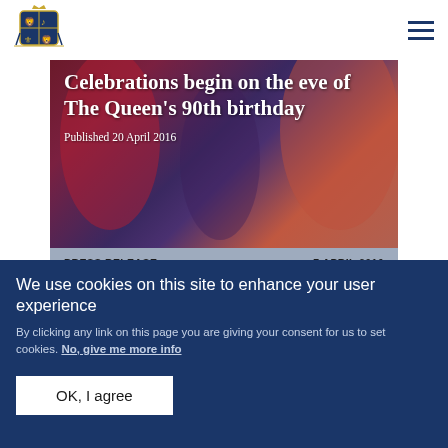UK Government Royal Family website header with Royal Coat of Arms logo and hamburger menu
[Figure (photo): Photo of The Queen's 90th birthday celebration event, showing people in formal/festive attire with red and purple tones. Overlaid with article title and publication date.]
Celebrations begin on the eve of The Queen's 90th birthday
Published 20 April 2016
PRESS RELEASE    7 APRIL 2016
We use cookies on this site to enhance your user experience
By clicking any link on this page you are giving your consent for us to set cookies. No, give me more info
OK, I agree